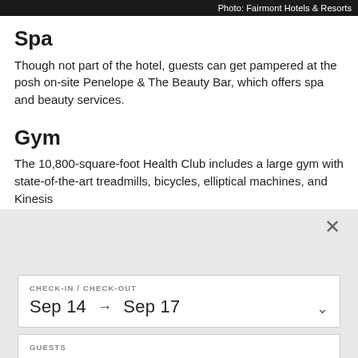Photo: Fairmont Hotels & Resorts
Spa
Though not part of the hotel, guests can get pampered at the posh on-site Penelope & The Beauty Bar, which offers spa and beauty services.
Gym
The 10,800-square-foot Health Club includes a large gym with state-of-the-art treadmills, bicycles, elliptical machines, and Kinesis
CHECK-IN / CHECK-OUT
Sep 14 → Sep 17
GUESTS
2 Guests
CHECK RATES